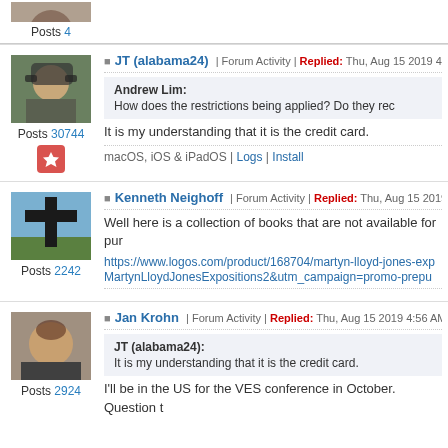Posts 4
JT (alabama24) | Forum Activity | Replied: Thu, Aug 15 2019 4:39 A
Andrew Lim: How does the restrictions being applied? Do they rec
It is my understanding that it is the credit card.
macOS, iOS & iPadOS | Logs | Install
Posts 30744
Kenneth Neighoff | Forum Activity | Replied: Thu, Aug 15 2019 4:4
Well here is a collection of books that are not available for pur
https://www.logos.com/product/168704/martyn-lloyd-jones-exp MartynLloydJonesExpositions2&utm_campaign=promo-prepu
Posts 2242
Jan Krohn | Forum Activity | Replied: Thu, Aug 15 2019 4:56 AM
JT (alabama24): It is my understanding that it is the credit card.
I'll be in the US for the VES conference in October. Question t
Posts 2924